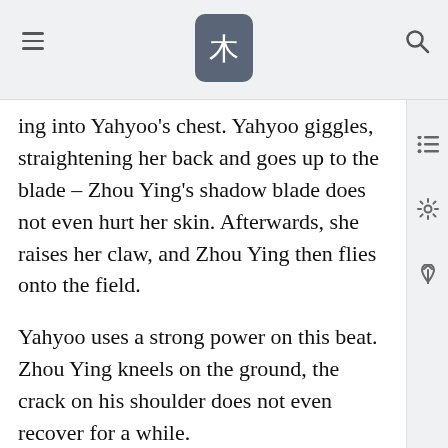[hamburger menu] [木 logo] [search icon]
ing into Yahyoo's chest. Yahyoo giggles, straightening her back and goes up to the blade – Zhou Ying's shadow blade does not even hurt her skin. Afterwards, she raises her claw, and Zhou Ying then flies onto the field.
Yahyoo uses a strong power on this beat. Zhou Ying kneels on the ground, the crack on his shoulder does not even recover for a while.
Deewolf lifts up a big rock, smashing it right at Yahyoo's head, but taking the opportunity when Yahyoo looks up and crushing the stone, Deewolf sneaks into the ground. He swims under Yahyoo, grabbing her ankles and pulls them down hard. Yahyoo sinks into the ground to her legs, making her unable to move. Then, Deewolf reaches out his sharp paws fro